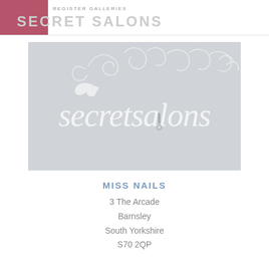REGISTER GALLERIES SECRET SALONS
[Figure (logo): Secret Salons logo on light grey background with decorative scroll flourishes and stylized 'secretsalons' text in white]
MISS NAILS
3 The Arcade
Barnsley
South Yorkshire
S70 2QP